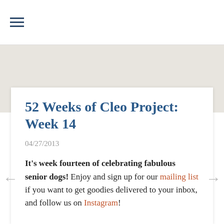≡
52 Weeks of Cleo Project: Week 14
04/27/2013
It's week fourteen of celebrating fabulous senior dogs!  Enjoy and sign up for our mailing list if you want to get goodies delivered to your inbox, and follow us on Instagram!